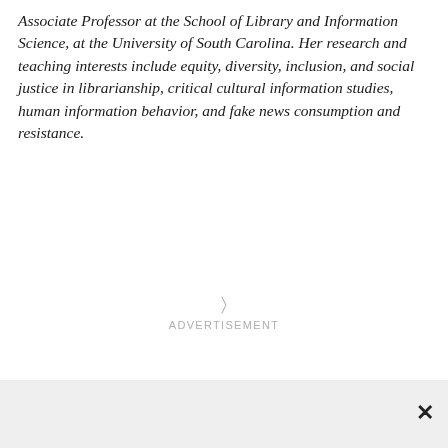Associate Professor at the School of Library and Information Science, at the University of South Carolina. Her research and teaching interests include equity, diversity, inclusion, and social justice in librarianship, critical cultural information studies, human information behavior, and fake news consumption and resistance.
[Figure (other): Advertisement placeholder with a small icon and the text 'ADVERTISEMENT' in light gray]